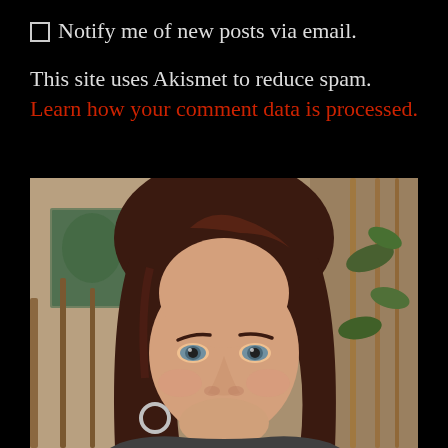☐ Notify me of new posts via email.
This site uses Akismet to reduce spam. Learn how your comment data is processed.
[Figure (photo): Portrait photo of a middle-aged woman with dark reddish-brown hair, smiling slightly, blue eyes, wearing a hoop earring. Background shows a home interior with artwork on a wall and a plant.]